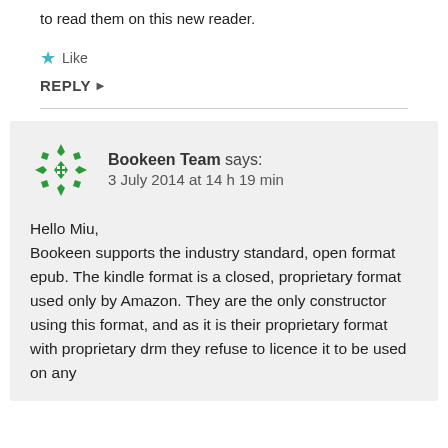to read them on this new reader.
★ Like
REPLY ▸
Bookeen Team says:
3 July 2014 at 14 h 19 min

Hello Miu,
Bookeen supports the industry standard, open format epub. The kindle format is a closed, proprietary format used only by Amazon. They are the only constructor using this format, and as it is their proprietary format with proprietary drm they refuse to licence it to be used on any